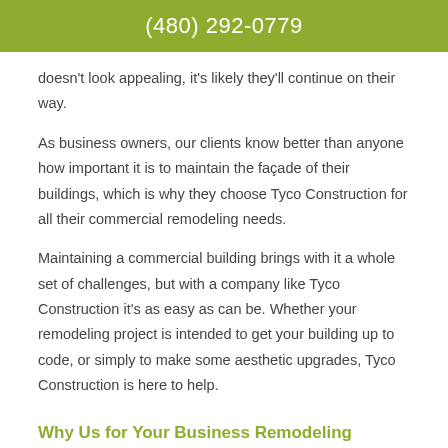(480) 292-0779
doesn't look appealing, it's likely they'll continue on their way.
As business owners, our clients know better than anyone how important it is to maintain the façade of their buildings, which is why they choose Tyco Construction for all their commercial remodeling needs.
Maintaining a commercial building brings with it a whole set of challenges, but with a company like Tyco Construction it's as easy as can be. Whether your remodeling project is intended to get your building up to code, or simply to make some aesthetic upgrades, Tyco Construction is here to help.
Why Us for Your Business Remodeling Needs?